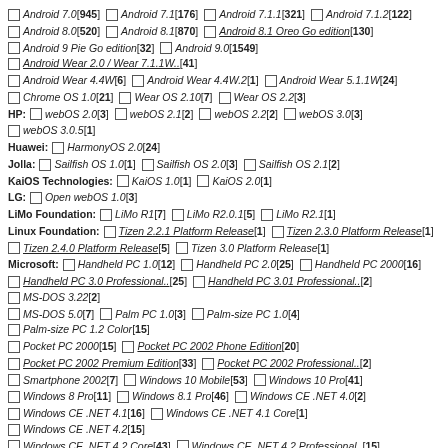Android 7.0 [945]  Android 7.1 [176]  Android 7.1.1 [321]  Android 7.1.2 [122]
Android 8.0 [520]  Android 8.1 [870]  Android 8.1 Oreo Go edition [130]
Android 9 Pie Go edition [32]  Android 9.0 [1549]  Android Wear 2.0 / Wear 7.1.1W.. [41]
Android Wear 4.4W [6]  Android Wear 4.4W.2 [1]  Android Wear 5.1.1W [24]
Chrome OS 1.0 [21]  Wear OS 2.10 [7]  Wear OS 2.2 [3]
HP: webOS 2.0 [3]  webOS 2.1 [2]  webOS 2.2 [2]  webOS 3.0 [3]
webOS 3.0.5 [1]
Huawei: HarmonyOS 2.0 [24]
Jolla: Sailfish OS 1.0 [1]  Sailfish OS 2.0 [3]  Sailfish OS 2.1 [2]
KaiOS Technologies: KaiOS 1.0 [1]  KaiOS 2.0 [1]
LG: Open webOS 1.0 [3]
LiMo Foundation: LiMo R1 [7]  LiMo R2.0.1 [5]  LiMo R2.1 [1]
Linux Foundation: Tizen 2.2.1 Platform Release [1]  Tizen 2.3.0 Platform Release [1]
Tizen 2.4.0 Platform Release [5]  Tizen 3.0 Platform Release [1]
Microsoft: Handheld PC 1.0 [12]  Handheld PC 2.0 [25]  Handheld PC 2000 [16]
Handheld PC 3.0 Professional.. [25]  Handheld PC 3.01 Professional.. [2]  MS-DOS 3.22 [2]
MS-DOS 5.0 [7]  Palm PC 1.0 [3]  Palm-size PC 1.0 [4]  Palm-size PC 1.2 Color [15]
Pocket PC 2000 [15]  Pocket PC 2002 Phone Edition [20]
Pocket PC 2002 Premium Edition [33]  Pocket PC 2002 Professional.. [2]
Smartphone 2002 [7]  Windows 10 Mobile [53]  Windows 10 Pro [41]
Windows 8 Pro [11]  Windows 8.1 Pro [46]  Windows CE .NET 4.0 [2]
Windows CE .NET 4.1 [16]  Windows CE .NET 4.1 Core [1]  Windows CE .NET 4.2 [15]
Windows CE .NET 4.2 Core [43]  Windows CE .NET 4.2 Professional.. [15]